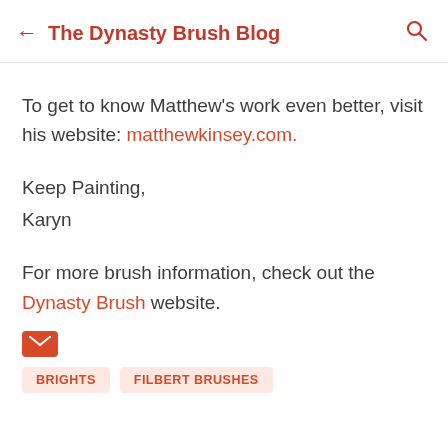The Dynasty Brush Blog
To get to know Matthew's work even better, visit his website: matthewkinsey.com.
Keep Painting,
Karyn
For more brush information, check out the Dynasty Brush website.
[Figure (other): Red envelope/email icon]
BRIGHTS   FILBERT BRUSHES